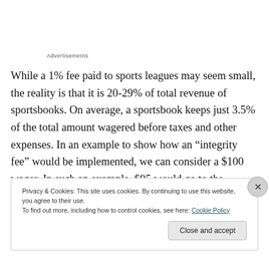Advertisements
While a 1% fee paid to sports leagues may seem small, the reality is that it is 20-29% of total revenue of sportsbooks. On average, a sportsbook keeps just 3.5% of the total amount wagered before taxes and other expenses. In an example to show how an “integrity fee” would be implemented, we can consider a $100 wager. In such an example, $95 would go to the winning bettor, $1
Privacy & Cookies: This site uses cookies. By continuing to use this website, you agree to their use.
To find out more, including how to control cookies, see here: Cookie Policy